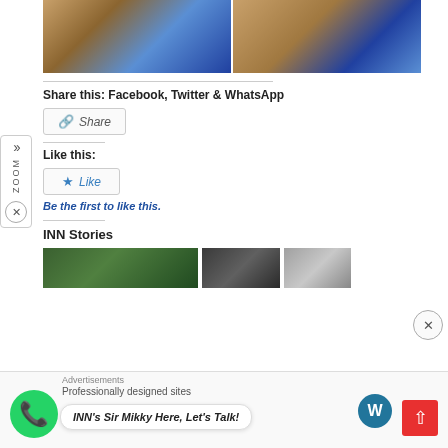[Figure (photo): Two cropped photos side by side showing persons, left photo shows an arm/body, right photo shows crossed arms with a ring]
Share this: Facebook, Twitter & WhatsApp
[Figure (screenshot): Share button with share icon]
Like this:
[Figure (screenshot): Like button with star icon]
Be the first to like this.
INN Stories
[Figure (photo): Three small story thumbnail images]
Advertisements
Professionally designed sites
INN's Sir Mikky Here, Let's Talk!